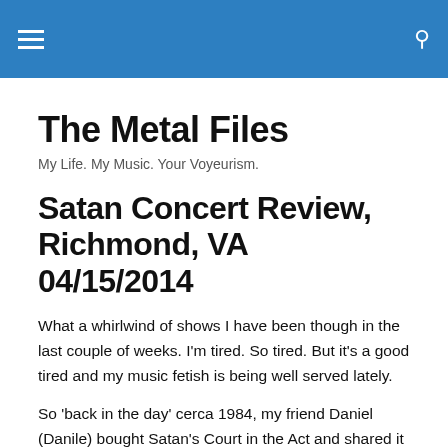The Metal Files — navigation header with hamburger menu and search icon
The Metal Files
My Life. My Music. Your Voyeurism.
Satan Concert Review, Richmond, VA 04/15/2014
What a whirlwind of shows I have been though in the last couple of weeks.  I'm tired.  So tired.  But it's a good tired and my music fetish is being well served lately.
So 'back in the day' cerca 1984, my friend Daniel (Danile) bought Satan's Court in the Act and shared it with Kelz, Petey and me and the rest is metal history.  I've loved this